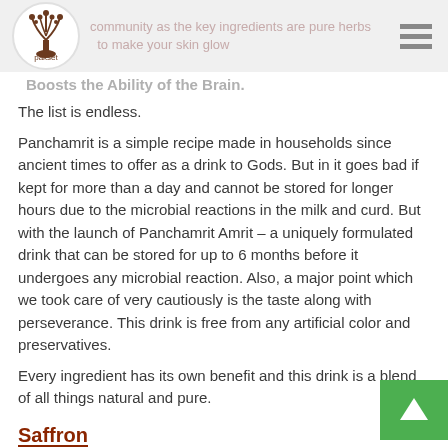community as the key ingredients are pure herbs to make your skin glow
Boosts the Ability of the Brain.
The list is endless.
Panchamrit is a simple recipe made in households since ancient times to offer as a drink to Gods. But in it goes bad if kept for more than a day and cannot be stored for longer hours due to the microbial reactions in the milk and curd. But with the launch of Panchamrit Amrit – a uniquely formulated drink that can be stored for up to 6 months before it undergoes any microbial reaction. Also, a major point which we took care of very cautiously is the taste along with perseverance. This drink is free from any artificial color and preservatives.
Every ingredient has its own benefit and this drink is a blend of all things natural and pure.
Saffron
Also known as Kesar is a very well-known herb in. It is proven to enhance the skin tone and make